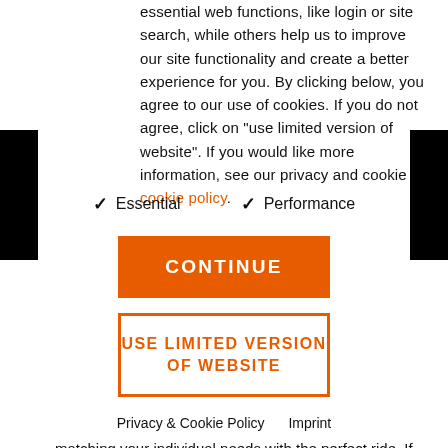essential web functions, like login or site search, while others help us to improve our site functionality and create a better experience for you. By clicking below, you agree to our use of cookies. If you do not agree, click on "use limited version of website". If you would like more information, see our privacy and cookie cookie policy.
✓ Essential   ✓ Performance
CONTINUE
USE LIMITED VERSION OF WEBSITE
Privacy & Cookie Policy   Imprint
matching your individual needs with the perfect ride. If your